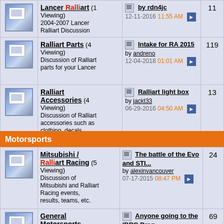| Icon | Forum | Last Post | Count |
| --- | --- | --- | --- |
| [icon] | Lancer Ralliart (1 Viewing) 2004-2007 Lancer Ralliart Discussion | by rdn4jc 12-11-2016 11:55 AM | 11 |
| [icon] | Ralliart Parts (4 Viewing) Discussion of Ralliart parts for your Lancer | Intake for RA 2015 by andreno 12-04-2018 01:01 AM | 119 |
| [icon] | Ralliart Accessories (4 Viewing) Discussion of Ralliart accessories such as clothing, decals, swag, etc. | Ralliart light box by jackt33 06-29-2016 04:50 AM | 13 |
Motorsports
| Icon | Forum | Last Post | Count |
| --- | --- | --- | --- |
| [icon] | Mitsubishi / Ralliart Racing (5 Viewing) Discussion of Mitsubishi and Ralliart Racing events, results, teams, etc. | The battle of the Evo and STI... by alexinvancouver 07-17-2015 08:47 PM | 24 |
| [icon] | General Motorsports Events (15 Viewing) Discussion of track events, drag events, open track days, | Anyone going to the IDRC Drag... by asianracer 10-16-2014 06:55 PM | 69 |